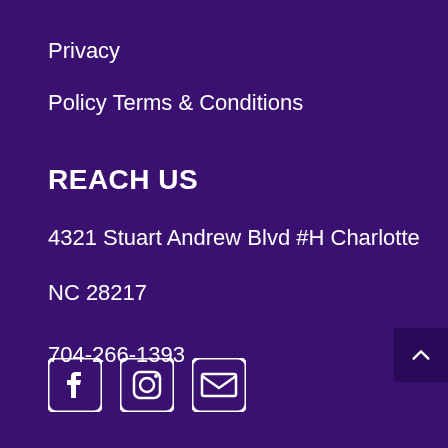Privacy
Policy Terms & Conditions
REACH US
4321 Stuart Andrew Blvd #H Charlotte
NC 28217
704-266-1393
[Figure (infographic): Social media icons: Facebook, Instagram, Email]